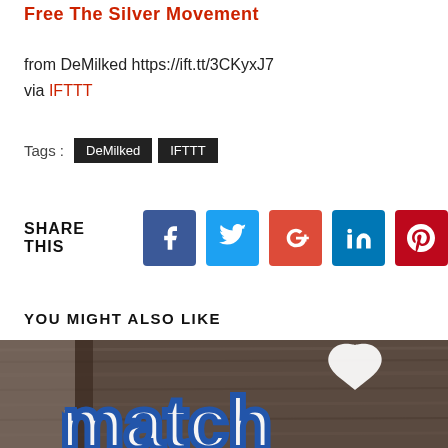Free The Silver Movement
from DeMilked https://ift.tt/3CKyxJ7
via IFTTT
Tags : DeMilked  IFTTT
SHARE THIS
YOU MIGHT ALSO LIKE
[Figure (photo): Photo of a 'match' logo on a dark wood paneled wall with a white heart shape above, branded signage for Match.com]